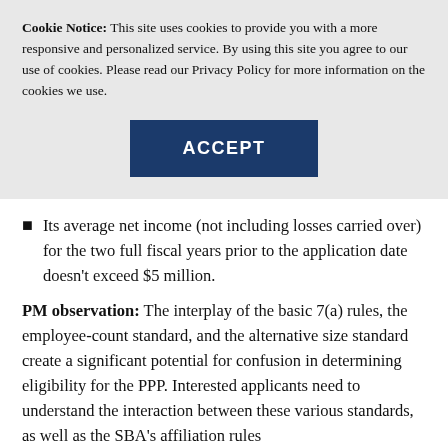Cookie Notice: This site uses cookies to provide you with a more responsive and personalized service. By using this site you agree to our use of cookies. Please read our Privacy Policy for more information on the cookies we use.
ACCEPT
Its average net income (not including losses carried over) for the two full fiscal years prior to the application date doesn't exceed $5 million.
PM observation: The interplay of the basic 7(a) rules, the employee-count standard, and the alternative size standard create a significant potential for confusion in determining eligibility for the PPP. Interested applicants need to understand the interaction between these various standards, as well as the SBA's affiliation rules